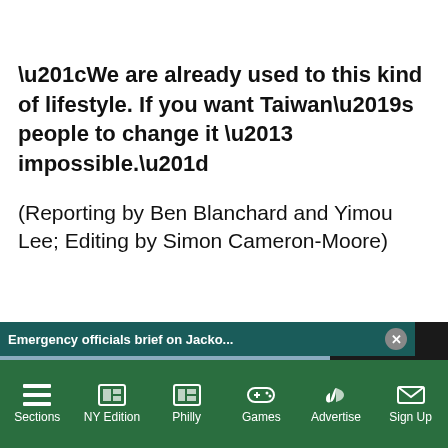“We are already used to this kind of lifestyle. If you want Taiwan’s people to change it – impossible.”
(Reporting by Ben Blanchard and Yimou Lee; Editing by Simon Cameron-Moore)
[Figure (screenshot): AP video popup showing emergency officials briefing on Jackson's water crisis, with walkway scene and text overlay reading EMERGENCY OFFICIALS BRIEF ON JACKSON'S. Header reads: Emergency officials brief on Jacko...]
[Figure (photo): Close-up side profile photo of a person wearing glasses]
Sections  NY Edition  Philly  Games  Advertise  Sign Up